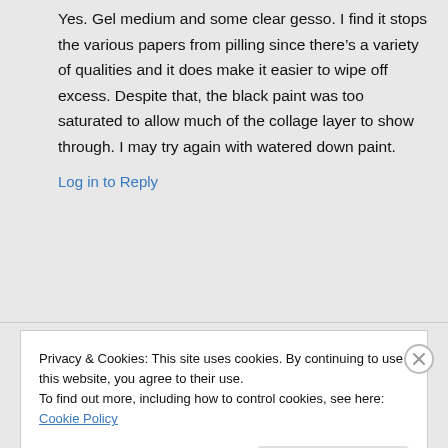Yes. Gel medium and some clear gesso. I find it stops the various papers from pilling since there's a variety of qualities and it does make it easier to wipe off excess. Despite that, the black paint was too saturated to allow much of the collage layer to show through. I may try again with watered down paint.
Log in to Reply
Privacy & Cookies: This site uses cookies. By continuing to use this website, you agree to their use.
To find out more, including how to control cookies, see here: Cookie Policy
Close and accept